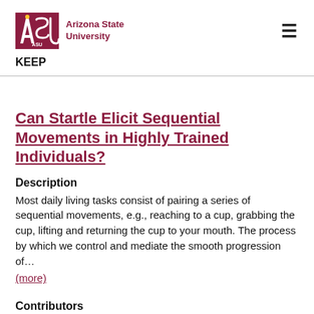[Figure (logo): Arizona State University logo with ASU text in maroon and gold and the text 'Arizona State University' beside it]
KEEP
Can Startle Elicit Sequential Movements in Highly Trained Individuals?
Description
Most daily living tasks consist of pairing a series of sequential movements, e.g., reaching to a cup, grabbing the cup, lifting and returning the cup to your mouth. The process by which we control and mediate the smooth progression of…
(more)
Contributors